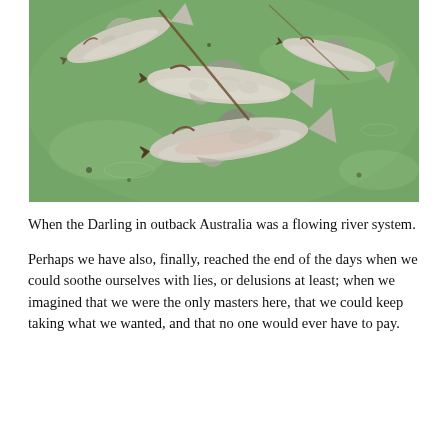[Figure (photo): Photograph of multiple dead fish floating belly-up in green-tinted water, likely from the Darling River in outback Australia. The fish are pale white with scales visible, mouths open, floating on the surface of what appears to be algae-covered water.]
When the Darling in outback Australia was a flowing river system.
Perhaps we have also, finally, reached the end of the days when we could soothe ourselves with lies, or delusions at least; when we imagined that we were the only masters here, that we could keep taking what we wanted, and that no one would ever have to pay.